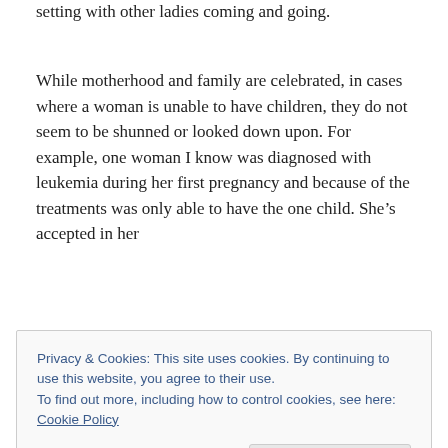setting with other ladies coming and going.
While motherhood and family are celebrated, in cases where a woman is unable to have children, they do not seem to be shunned or looked down upon. For example, one woman I know was diagnosed with leukemia during her first pregnancy and because of the treatments was only able to have the one child. She’s accepted in her
Privacy & Cookies: This site uses cookies. By continuing to use this website, you agree to their use.
To find out more, including how to control cookies, see here: Cookie Policy
Close and accept
is less traditional, quietly practices birth control, and only